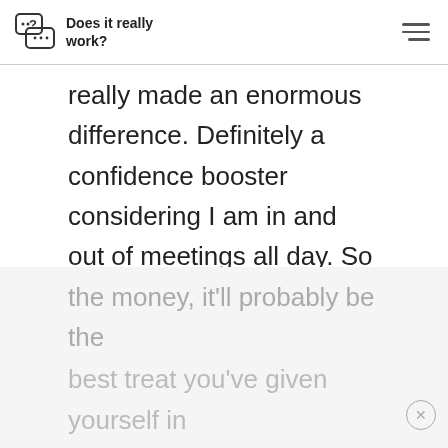Does it really work?
really made an enormous difference. Definitely a confidence booster considering I am in and out of meetings all day. So does it work. Yes. Is it worth having it done at the dental office? Absolutely! If you've got an hour or so spend
the money, it'll probably be the
best treat you've given yourself in